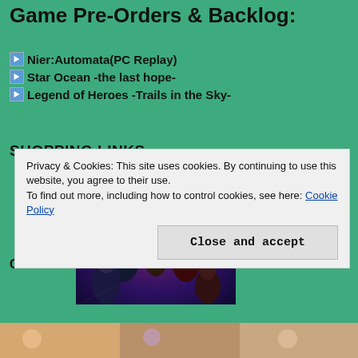Game Pre-Orders & Backlog:
Nier:Automata(PC Replay)
Star Ocean -the last hope-
Legend of Heroes -Trails in the Sky-
SHOPPING LINKS
Click!
[Figure (illustration): Anime RPG game art featuring multiple characters against a dark fantasy background]
Privacy & Cookies: This site uses cookies. By continuing to use this website, you agree to their use.
To find out more, including how to control cookies, see here: Cookie Policy
Close and accept
[Figure (illustration): Bottom strip of anime character illustrations]